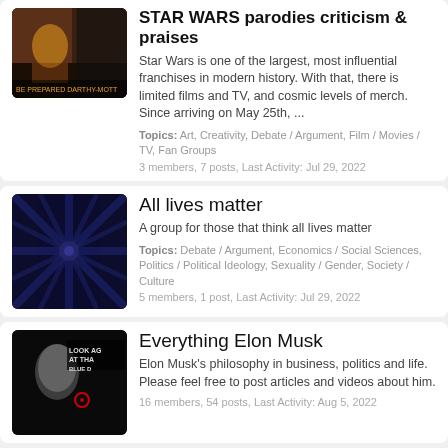STAR WARS parodies criticism & praises
Star Wars is one of the largest, most influential franchises in modern history. With that, there is limited films and TV, and cosmic levels of merch. Since arriving on May 25th, ...
Topics: Art, Creativity, Debate / Argument, Film / Movies / TV, Fan Groups
3 members, 7 posts, Last Activity: Jul 29, 2022
All lives matter
A group for those that think all lives matter
Topics: Debate / Argument, Economics / Social Sciences, Politics / Political Ideology, Sexuality / Gender, Society / Culture
5 members, 1 post, Last Activity: Jul 29, 2022
Everything Elon Musk
Elon Musk's philosophy in business, politics and life. Please feel free to post articles and videos about him.
16 members, 54 posts, Last Activity: Aug 5, 2022
Movie Discussion
Discussion of American and World Cinema as Art, Entertainment, and Propaganda